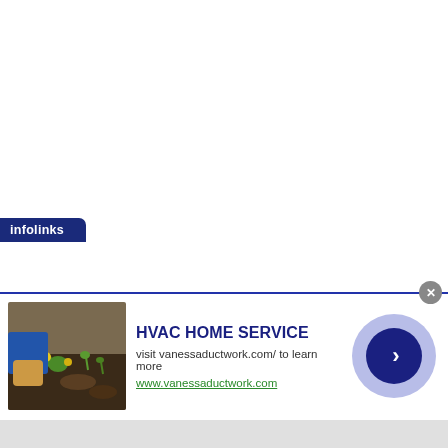[Figure (infographic): Infolinks advertisement banner for HVAC Home Service (vanessaductwork.com). Shows infolinks tab label, a thumbnail photo of gardening/soil scene, ad title 'HVAC HOME SERVICE', subtext 'visit vanessaductwork.com/ to learn more', URL 'www.vanessaductwork.com', a close (X) button, and a blue circle arrow navigation button.]